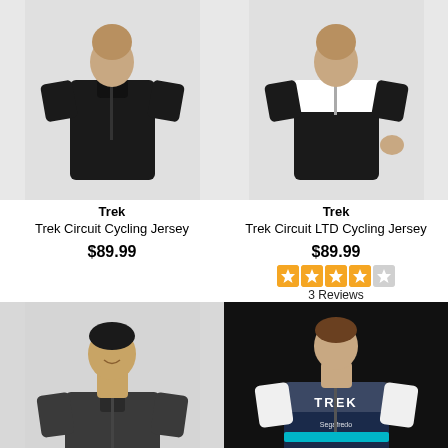[Figure (photo): Black cycling jersey worn by a male model, upper body shown, light gray background]
Trek
Trek Circuit Cycling Jersey
$89.99
[Figure (photo): Black and white cycling jersey worn by a male model, upper body shown, light gray background]
Trek
Trek Circuit LTD Cycling Jersey
$89.99
[Figure (other): Star rating: 4 out of 5 orange stars]
3 Reviews
[Figure (photo): Dark gray cycling jersey worn by a smiling male model, upper body shown, light gray background]
[Figure (photo): Trek-Segafredo pro team cycling jersey in navy blue, white, and teal stripes, worn by a male model, dark background]